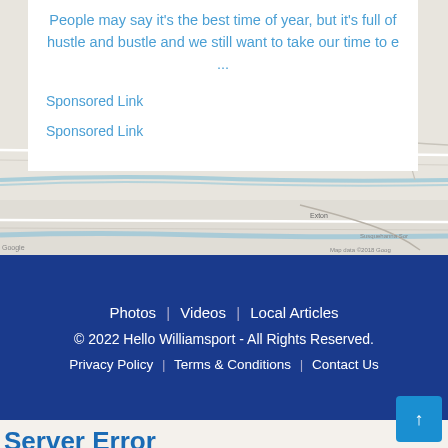People may say it's the best time of year, but it's full of hustle and bustle and we still want to take our time to e ...
Sponsored Link
Sponsored Link
[Figure (map): Street map strip showing roads and waterway, partial view of Williamsport area]
Photos | Videos | Local Articles
© 2022 Hello Williamsport - All Rights Reserved.
Privacy Policy | Terms & Conditions | Contact Us
Server Error
Our system is experiencing some issues at this time. Please try again later.